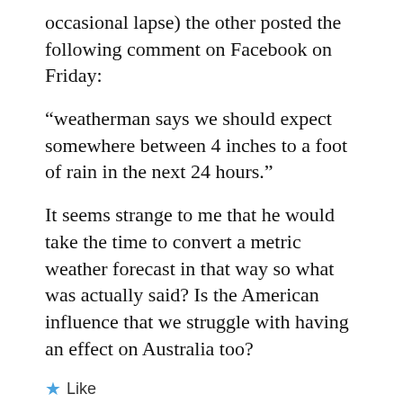occasional lapse) the other posted the following comment on Facebook on Friday:
“weatherman says we should expect somewhere between 4 inches to a foot of rain in the next 24 hours.”
It seems strange to me that he would take the time to convert a metric weather forecast in that way so what was actually said? Is the American influence that we struggle with having an effect on Australia too?
Like